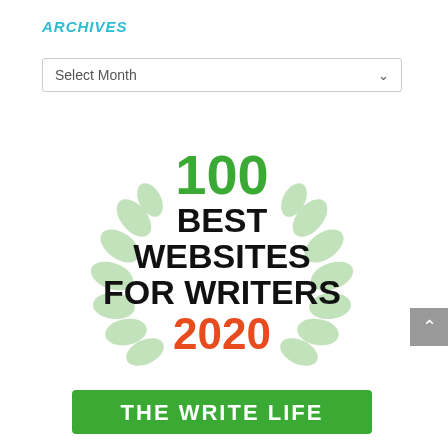ARCHIVES
[Figure (screenshot): A dropdown selector labeled 'Select Month' with a chevron arrow on the right, displayed in a bordered box.]
[Figure (logo): Award badge: '100 BEST WEBSITES FOR WRITERS 2020' with a laurel wreath in light green surrounding black and green text, and '2020' in orange-red. Below is a green banner reading 'THE WRITE LIFE'.]